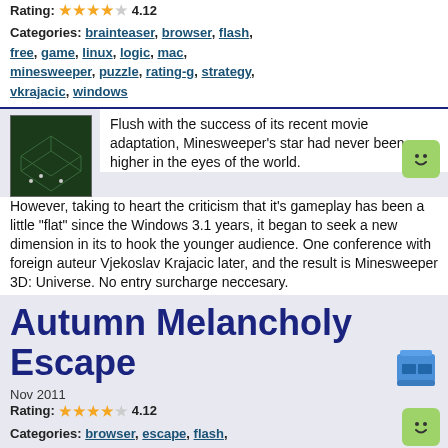Rating: 4.12
Categories: brainteaser, browser, flash, free, game, linux, logic, mac, minesweeper, puzzle, rating-g, strategy, vkrajacic, windows
[Figure (photo): Thumbnail of Minesweeper 3D game showing a 3D green cube grid]
Flush with the success of its recent movie adaptation, Minesweeper's star had never been higher in the eyes of the world. However, taking to heart the criticism that it's gameplay has been a little "flat" since the Windows 3.1 years, it began to seek a new dimension in its to hook the younger audience. One conference with foreign auteur Vjekoslav Krajacic later, and the result is Minesweeper 3D: Universe. No entry surcharge neccesary.
Autumn Melancholy Escape
Nov 2011
Rating: 4.12
Categories: browser, escape, flash, free, game, linux, mac, pointandclick, puzzle, rating-g, tomatoes, windows